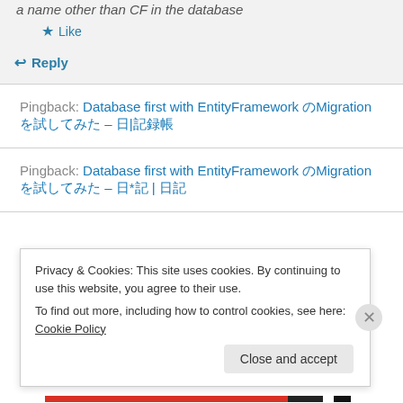a name other than CF in the database
★ Like
↪ Reply
Pingback: Database first with EntityFramework のMigrationを試してみた – 日|記録帳
Pingback: Database first with EntityFramework のMigrationを試してみた – 日*記 | 日記
Privacy & Cookies: This site uses cookies. By continuing to use this website, you agree to their use.
To find out more, including how to control cookies, see here: Cookie Policy
Close and accept